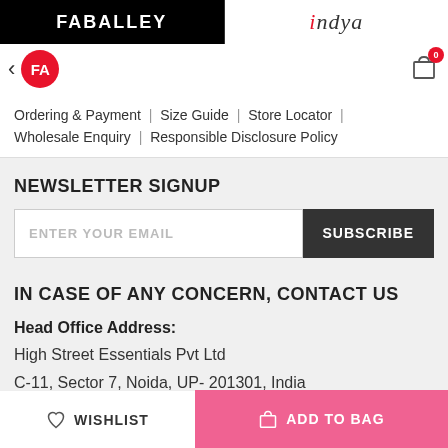FABALLEY | indya
Ordering & Payment | Size Guide | Store Locator | Wholesale Enquiry | Responsible Disclosure Policy
NEWSLETTER SIGNUP
ENTER YOUR EMAIL
SUBSCRIBE
IN CASE OF ANY CONCERN, CONTACT US
Head Office Address:
High Street Essentials Pvt Ltd
C-11, Sector 7, Noida, UP- 201301, India
Customer Care:
WISHLIST | ADD TO BAG